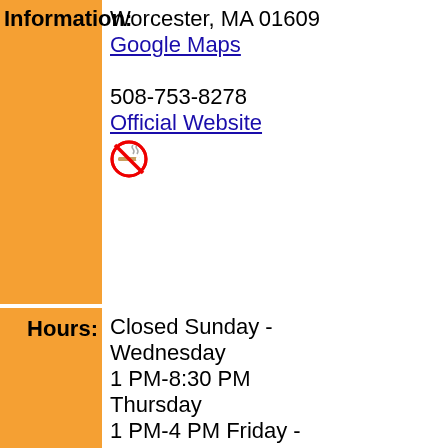Information: Worcester, MA 01609
Google Maps
508-753-8278
Official Website
Hours: Closed Sunday - Wednesday 1 PM-8:30 PM Thursday 1 PM-4 PM Friday - Saturday
Description: Interest Areas: History / Heritage, Architecture
The Salisbury Mansion was built in 1772 by Stephen Salisbury I and is recognized as a major historical resource. It is one of the few remaining 18th century buildings in